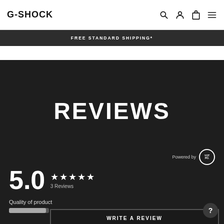G-SHOCK
FREE STANDARD SHIPPING*
REVIEWS
Powered by YOTPO
5.0 ★★★★★ 3 Reviews
Quality of product
WRITE A REVIEW